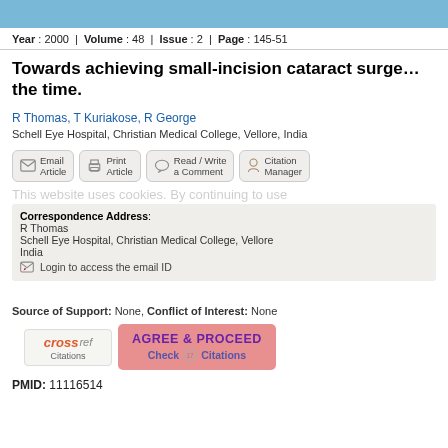Year : 2000 | Volume : 48 | Issue : 2 | Page : 145-51
Towards achieving small-incision cataract surge… the time.
R Thomas, T Kuriakose, R George
Schell Eye Hospital, Christian Medical College, Vellore, India
[Figure (other): Action buttons: Email Article, Print Article, Read/Write a Comment, Citation Manager]
This website uses cookies. By continuing to use this website you are giving consent to cookies being used. For information on cookies and how you can disable them visit our
Correspondence Address: R Thomas
Schell Eye Hospital, Christian Medical College, Vellore
India
Login to access the email ID
Source of Support: None, Conflict of Interest: None
[Figure (other): CrossRef Citations logo and AGREE & PROCEED button with Check Citations 17]
PMID: 11116514